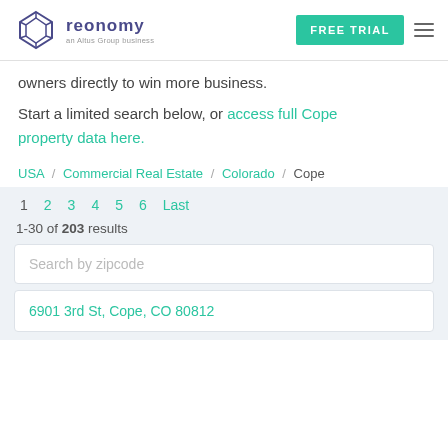reonomy — an Altus Group business | FREE TRIAL
owners directly to win more business.
Start a limited search below, or access full Cope property data here.
USA / Commercial Real Estate / Colorado / Cope
1  2  3  4  5  6  Last
1-30 of 203 results
Search by zipcode
6901 3rd St, Cope, CO 80812